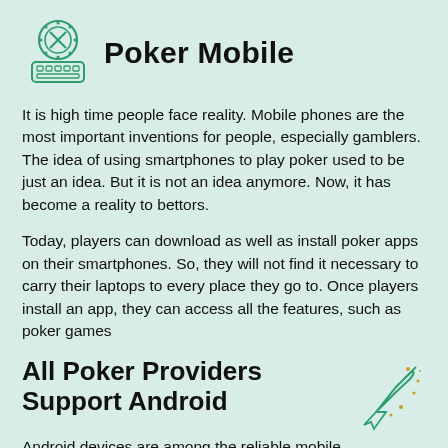Poker Mobile
It is high time people face reality. Mobile phones are the most important inventions for people, especially gamblers. The idea of using smartphones to play poker used to be just an idea. But it is not an idea anymore. Now, it has become a reality to bettors.
Today, players can download as well as install poker apps on their smartphones. So, they will not find it necessary to carry their laptops to every place they go to. Once players install an app, they can access all the features, such as poker games
All Poker Providers Support Android
Android devices are among the reliable mobile